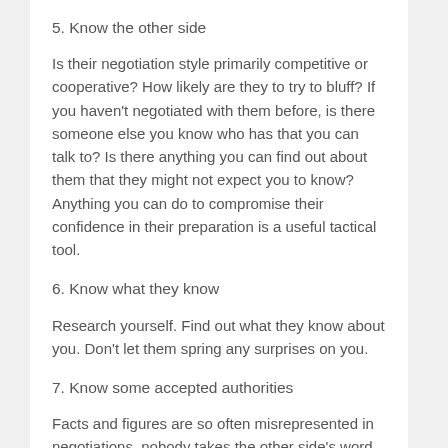5. Know the other side
Is their negotiation style primarily competitive or cooperative? How likely are they to try to bluff? If you haven't negotiated with them before, is there someone else you know who has that you can talk to? Is there anything you can find out about them that they might not expect you to know? Anything you can do to compromise their confidence in their preparation is a useful tactical tool.
6. Know what they know
Research yourself. Find out what they know about you. Don't let them spring any surprises on you.
7. Know some accepted authorities
Facts and figures are so often misrepresented in negotiations, nobody takes the other side's word. Try to find some authorities that you will both accept as